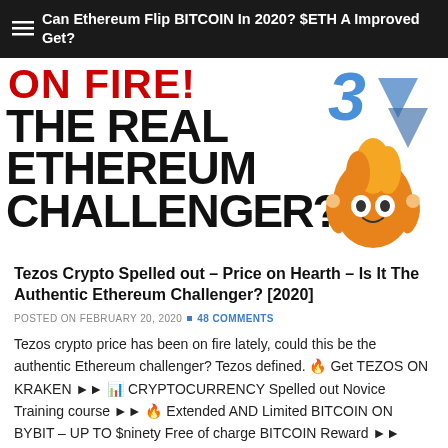Can Ethereum Flip BITCOIN In 2020? $ETH A Improved Get?
[Figure (illustration): Promotional banner image with large bold text 'ON FIRE! THE REAL ETHEREUM CHALLENGER?' on the left in red and black, and a cartoon flame character with a smiley face giving thumbs up on the right, along with Tezos and other crypto logos.]
Tezos Crypto Spelled out – Price on Hearth – Is It The Authentic Ethereum Challenger? [2020]
POSTED ON FEBRUARY 20, 2020 • 48 COMMENTS
Tezos crypto price has been on fire lately, could this be the authentic Ethereum challenger? Tezos defined. 🔥 Get TEZOS ON KRAKEN ►► 📊 CRYPTOCURRENCY Spelled out Novice Training course ►► 🔥 Extended AND Limited BITCOIN ON BYBIT – UP TO $ninety Free of charge BITCOIN Reward ►► (make sure[...]